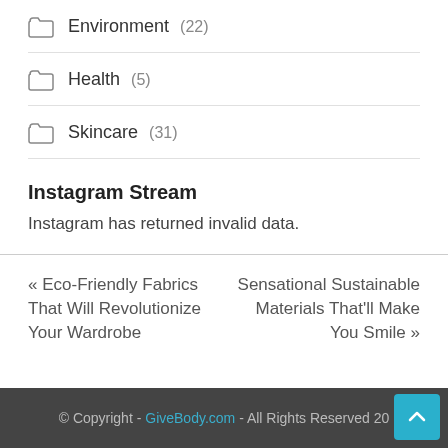Environment (22)
Health (5)
Skincare (31)
Instagram Stream
Instagram has returned invalid data.
« Eco-Friendly Fabrics That Will Revolutionize Your Wardrobe
Sensational Sustainable Materials That'll Make You Smile »
© Copyright - GiveBody.com - All Rights Reserved 20...